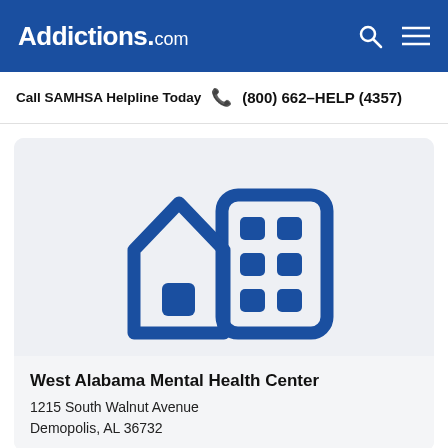Addictions.com
Call SAMHSA Helpline Today  ☎ (800) 662-HELP (4357)
[Figure (illustration): Icon of a house and building representing a mental health treatment facility, in dark blue on a light gray background.]
West Alabama Mental Health Center
1215 South Walnut Avenue
Demopolis, AL 36732